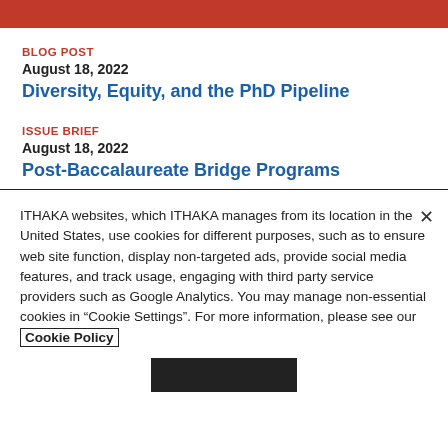BLOG POST
August 18, 2022
Diversity, Equity, and the PhD Pipeline
ISSUE BRIEF
August 18, 2022
Post-Baccalaureate Bridge Programs
ITHAKA websites, which ITHAKA manages from its location in the United States, use cookies for different purposes, such as to ensure web site function, display non-targeted ads, provide social media features, and track usage, engaging with third party service providers such as Google Analytics. You may manage non-essential cookies in “Cookie Settings”. For more information, please see our Cookie Policy